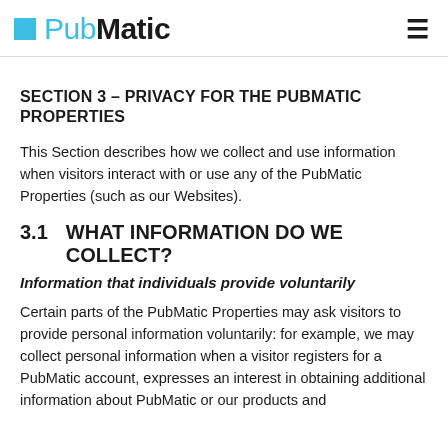PubMatic
SECTION 3 – PRIVACY FOR THE PUBMATIC PROPERTIES
This Section describes how we collect and use information when visitors interact with or use any of the PubMatic Properties (such as our Websites).
3.1    WHAT INFORMATION DO WE COLLECT?
Information that individuals provide voluntarily
Certain parts of the PubMatic Properties may ask visitors to provide personal information voluntarily: for example, we may collect personal information when a visitor registers for a PubMatic account, expresses an interest in obtaining additional information about PubMatic or our products and